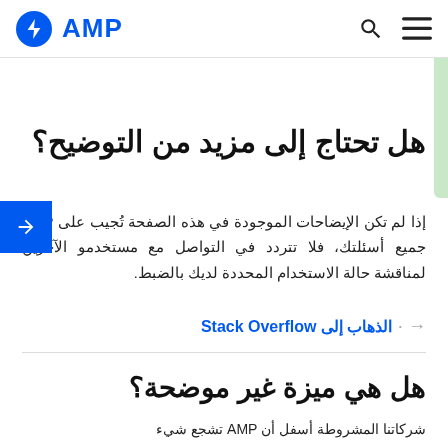AMP
هل تحتاج إلى مزيد من التوضيح؟
إذا لم تكن الإيضاحات الموجودة في هذه الصفحة تُجيب على AMP جميع أسئلتك، فلا تتردد في التواصل مع مستخدمو الآخرين لمناقشة حالة الاستخدام المحددة لديك بالضبط.
→ الذهاب إلى Stack Overflow
هل هي ميزة غير موضحة؟
AMP